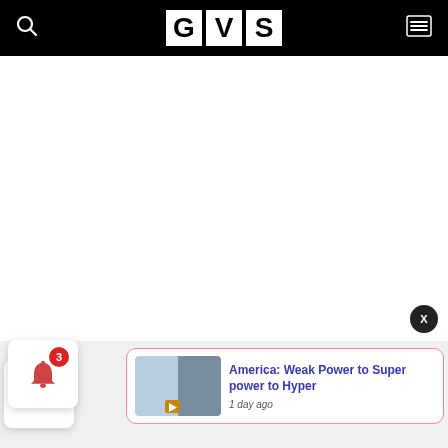GVS
[Figure (screenshot): White blank content area below navigation header]
[Figure (screenshot): Notification popup card with thumbnail image and text: America: Weak Power to Super power to Hyper, 1 day ago]
[Figure (screenshot): Bell icon widget with red badge showing count 3]